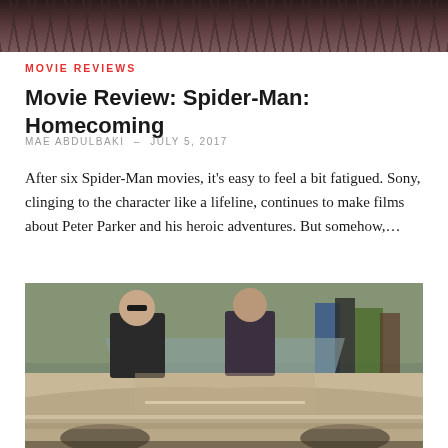[Figure (photo): Dark bridge or metal structure overhead shot, dark tones]
MOVIE REVIEWS
Movie Review: Spider-Man: Homecoming
MAE ABDULBAKI – JULY 5, 2017
After six Spider-Man movies, it's easy to feel a bit fatigued. Sony, clinging to the character like a lifeline, continues to make films about Peter Parker and his heroic adventures. But somehow,...
[Figure (photo): Scene from Spider-Man: Homecoming — two men in a convertible classic car, outdoor urban setting with bystanders in background]